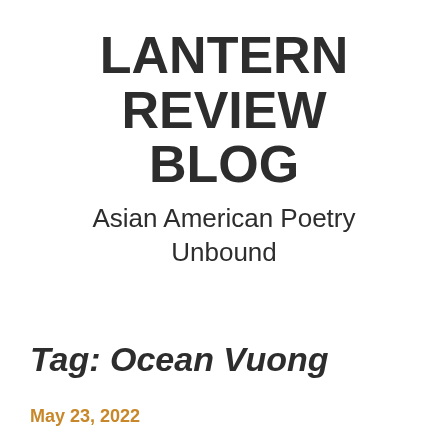LANTERN REVIEW BLOG
Asian American Poetry Unbound
Main Menu
Tag: Ocean Vuong
May 23, 2022